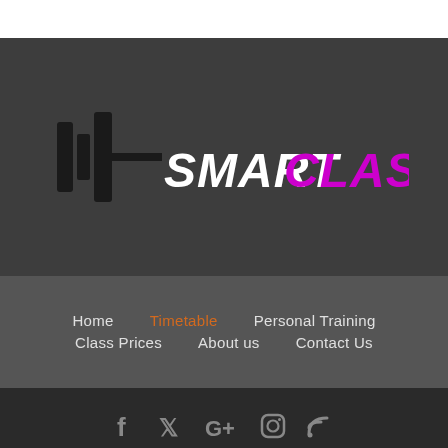[Figure (logo): Smart Classes fitness logo with dumbbell barbell graphic. Text reads SMART in white bold italic and CLASSES in magenta/pink bold italic, flanked by barbell weight plate graphics in black on dark gray background.]
Home
Timetable
Personal Training
Class Prices
About us
Contact Us
smartclasses.co.uk | Copyright 2019 |